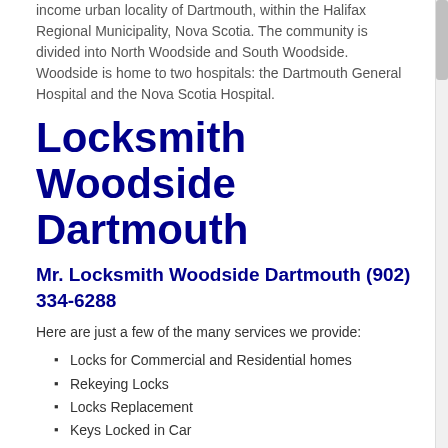income urban locality of Dartmouth, within the Halifax Regional Municipality, Nova Scotia. The community is divided into North Woodside and South Woodside. Woodside is home to two hospitals: the Dartmouth General Hospital and the Nova Scotia Hospital.
Locksmith Woodside Dartmouth
Mr. Locksmith Woodside Dartmouth (902) 334-6288
Here are just a few of the many services we provide:
Locks for Commercial and Residential homes
Rekeying Locks
Locks Replacement
Keys Locked in Car
Fixing Locks
Mailbox Locks